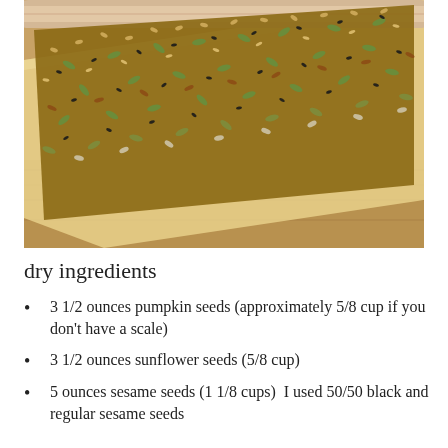[Figure (photo): Close-up photograph of a seed cracker or flatbread covered densely with mixed seeds including pumpkin seeds, sunflower seeds, sesame seeds (black and regular), and other seeds, laid on a wooden surface with parchment paper visible.]
dry ingredients
3 1/2 ounces pumpkin seeds (approximately 5/8 cup if you don't have a scale)
3 1/2 ounces sunflower seeds (5/8 cup)
5 ounces sesame seeds (1 1/8 cups)  I used 50/50 black and regular sesame seeds